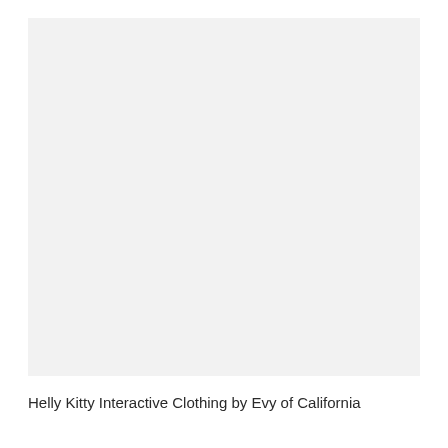[Figure (photo): Large light gray rectangular placeholder image area with no visible content]
Helly Kitty Interactive Clothing by Evy of California